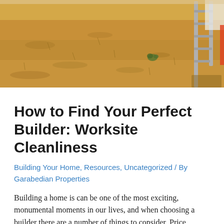[Figure (photo): Outdoor construction site photo showing dry sandy/dusty ground with dry grass, a small green plant in the middle, and a metal stepladder visible in the upper right corner against a bright sky.]
How to Find Your Perfect Builder: Worksite Cleanliness
Building Your Home, Resources, Uncategorized / By Garabedian Properties
Building a home is can be one of the most exciting, monumental moments in our lives, and when choosing a builder there are a number of things to consider. Price, reputation, home style, and